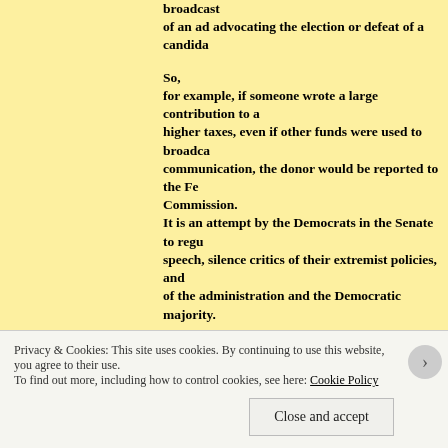broadcast of an ad advocating the election or defeat of a candida
So, for example, if someone wrote a large contribution to a higher taxes, even if other funds were used to broadca communication, the donor would be reported to the Fe Commission. It is an attempt by the Democrats in the Senate to regu speech, silence critics of their extremist policies, and of the administration and the Democratic majority.
It tramples on the First Amendment and the freedom of associatio you are a labor union—groups funded with membersh What a surprise! As is the Sierra Club. And the Nationa which voted to score a vote for the DISCLOSE Act as ar
Privacy & Cookies: This site uses cookies. By continuing to use this website, you agree to their use. To find out more, including how to control cookies, see here: Cookie Policy
Close and accept